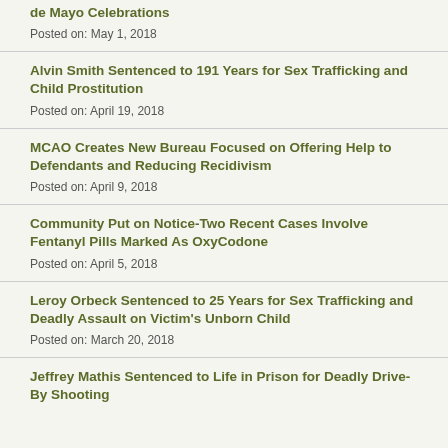de Mayo Celebrations
Posted on: May 1, 2018
Alvin Smith Sentenced to 191 Years for Sex Trafficking and Child Prostitution
Posted on: April 19, 2018
MCAO Creates New Bureau Focused on Offering Help to Defendants and Reducing Recidivism
Posted on: April 9, 2018
Community Put on Notice-Two Recent Cases Involve Fentanyl Pills Marked As OxyCodone
Posted on: April 5, 2018
Leroy Orbeck Sentenced to 25 Years for Sex Trafficking and Deadly Assault on Victim's Unborn Child
Posted on: March 20, 2018
Jeffrey Mathis Sentenced to Life in Prison for Deadly Drive-By Shooting